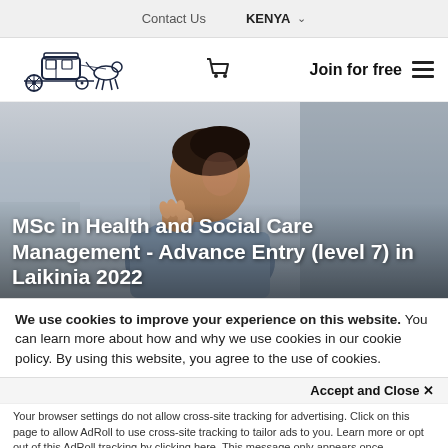Contact Us   KENYA ▾
[Figure (logo): Horse-drawn carriage logo illustration and cart/shopping icon with Join for free text and hamburger menu]
[Figure (photo): Woman in professional attire looking upward thoughtfully, background hero image]
MSc in Health and Social Care Management - Advance Entry (level 7) in Laikinia 2022
We use cookies to improve your experience on this website. You can learn more about how and why we use cookies in our cookie policy. By using this website, you agree to the use of cookies.
Accept and Close ×
Your browser settings do not allow cross-site tracking for advertising. Click on this page to allow AdRoll to use cross-site tracking to tailor ads to you. Learn more or opt out of this AdRoll tracking by clicking here. This message only appears once.